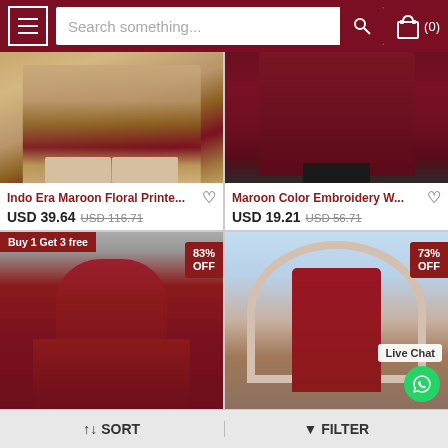[Figure (screenshot): E-commerce website header with hamburger menu, search bar, and cart icon (0)]
[Figure (photo): Indo Era Maroon Floral Printed garment — lower portion showing layered anarkali skirt in beige and maroon]
Indo Era Maroon Floral Printe...
USD 39.64  USD 116.71
[Figure (photo): Maroon Color Embroidery W... — dark maroon embroidered kurti/fabric]
Maroon Color Embroidery W...
USD 19.21  USD 56.71
Buy 1 Get 3 free
[Figure (photo): Red/maroon anarkali dress with gold print, 83% OFF badge, model posing]
[Figure (photo): Maroon printed kurti/dress with floral arch background, 73% OFF badge, Live Chat button]
Live Chat
↑↓ SORT
▼ FILTER